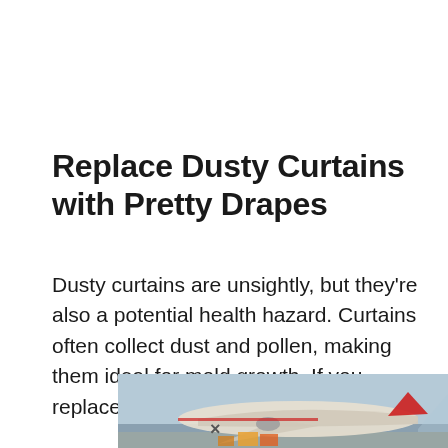Replace Dusty Curtains with Pretty Drapes
Dusty curtains are unsightly, but they're also a potential health hazard. Curtains often collect dust and pollen, making them ideal for mold growth. If you replace your dusty curtains with pretty
[Figure (photo): Advertisement banner showing an airplane being loaded with cargo on the tarmac, with a blue panel on the right reading 'WITHOUT REGARD TO POLITICS, RELIGION OR ABILITY TO PAY']
×